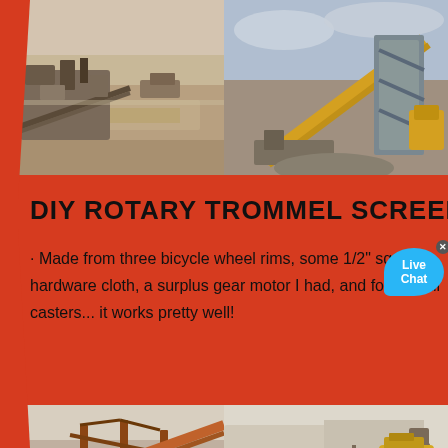[Figure (photo): Two side-by-side photos of mining/quarry crushing and conveyor equipment at top of page]
DIY ROTARY TROMMEL SCREEN
· Made from three bicycle wheel rims, some 1/2" square hardware cloth, a surplus gear motor I had, and four small casters... it works pretty well!
[Figure (photo): Four photos of mining/quarry screening and conveyor belt equipment at bottom of page]